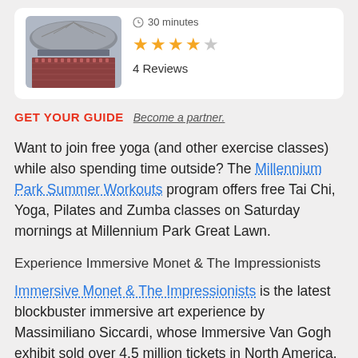[Figure (photo): Photo of an outdoor amphitheater/pavilion with rows of red seats and a large metallic canopy roof]
30 minutes
★★★★★
4 Reviews
GET YOUR GUIDE  Become a partner.
Want to join free yoga (and other exercise classes) while also spending time outside? The Millennium Park Summer Workouts program offers free Tai Chi, Yoga, Pilates and Zumba classes on Saturday mornings at Millennium Park Great Lawn.
Experience Immersive Monet & The Impressionists
Immersive Monet & The Impressionists is the latest blockbuster immersive art experience by Massimiliano Siccardi, whose Immersive Van Gogh exhibit sold over 4.5 million tickets in North America. From Monet's